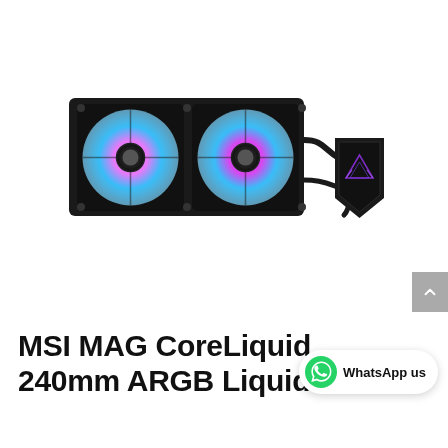[Figure (photo): MSI MAG CoreLiquid 240mm ARGB Liquid CPU Cooler product photo. Shows a black radiator with two 120mm fans featuring pink-to-blue RGB lighting gradient. A black triangular pump head with MSI dragon logo and RGB accent is connected by a black tube on the right side.]
MSI MAG CoreLiquid 240mm ARGB Liquid CPU